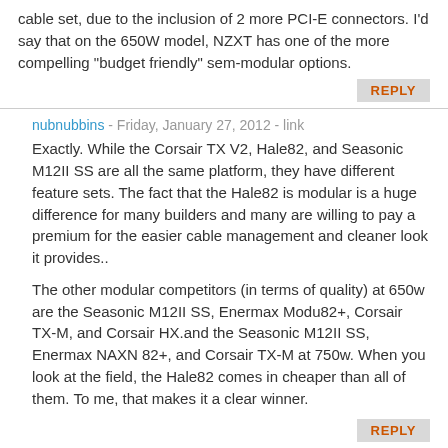cable set, due to the inclusion of 2 more PCI-E connectors. I'd say that on the 650W model, NZXT has one of the more compelling "budget friendly" sem-modular options.
REPLY
nubnubbins - Friday, January 27, 2012 - link
Exactly. While the Corsair TX V2, Hale82, and Seasonic M12II SS are all the same platform, they have different feature sets. The fact that the Hale82 is modular is a huge difference for many builders and many are willing to pay a premium for the easier cable management and cleaner look it provides..
The other modular competitors (in terms of quality) at 650w are the Seasonic M12II SS, Enermax Modu82+, Corsair TX-M, and Corsair HX.and the Seasonic M12II SS, Enermax NAXN 82+, and Corsair TX-M at 750w. When you look at the field, the Hale82 comes in cheaper than all of them. To me, that makes it a clear winner.
REPLY
ssj3gohan - Friday, January 27, 2012 - link
This is like nails on a chalkboard to anyone doing anything with electronics: